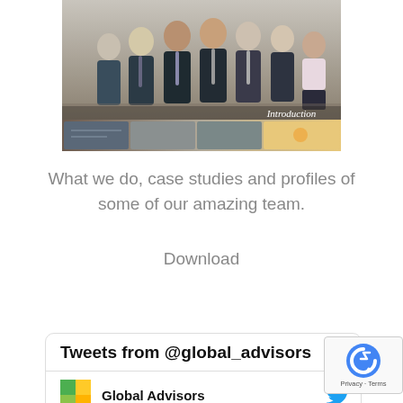[Figure (photo): A group photo of business professionals (team) standing together, with an 'Introduction' overlay text and a strip of smaller office/venue photos at the bottom. The image appears to be a cover for an introductory document.]
What we do, case studies and profiles of some of our amazing team.
Download
Tweets from @global_advisors
Global Advisors